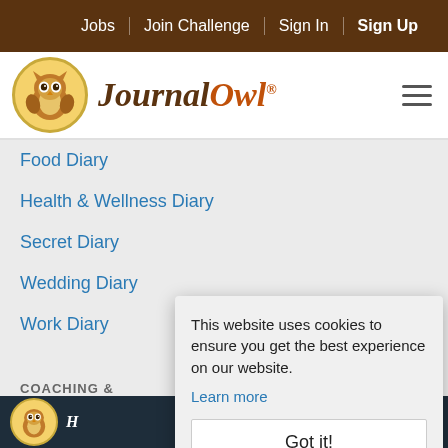Jobs | Join Challenge | Sign In | Sign Up
[Figure (logo): JournalOwl logo with owl icon and italic brand name]
Food Diary
Health & Wellness Diary
Secret Diary
Wedding Diary
Work Diary
COACHING &
Why Coach
This website uses cookies to ensure you get the best experience on our website.
Learn more
Got it!